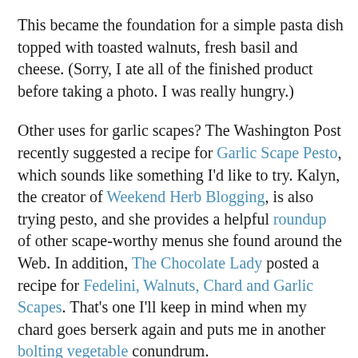This became the foundation for a simple pasta dish topped with toasted walnuts, fresh basil and cheese. (Sorry, I ate all of the finished product before taking a photo. I was really hungry.)
Other uses for garlic scapes? The Washington Post recently suggested a recipe for Garlic Scape Pesto, which sounds like something I'd like to try. Kalyn, the creator of Weekend Herb Blogging, is also trying pesto, and she provides a helpful roundup of other scape-worthy menus she found around the Web. In addition, The Chocolate Lady posted a recipe for Fedelini, Walnuts, Chard and Garlic Scapes. That's one I'll keep in mind when my chard goes berserk again and puts me in another bolting vegetable conundrum.